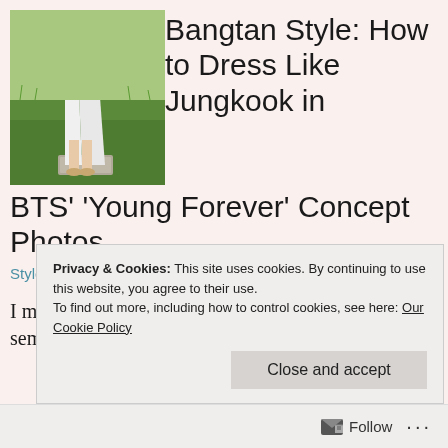[Figure (photo): A person standing outdoors on a stone step on green grass, wearing a white dress, photographed from the knees down.]
Bangtan Style: How to Dress Like Jungkook in BTS’ ‘Young Forever’ Concept Photos
Style
I might actually have a heart attack by the end of this semester. Also, I better hurry my butt up with
Privacy & Cookies: This site uses cookies. By continuing to use this website, you agree to their use.
To find out more, including how to control cookies, see here: Our Cookie Policy
Close and accept